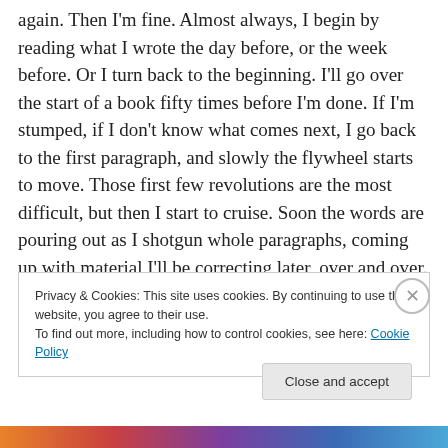again. Then I'm fine. Almost always, I begin by reading what I wrote the day before, or the week before. Or I turn back to the beginning. I'll go over the start of a book fifty times before I'm done. If I'm stumped, if I don't know what comes next, I go back to the first paragraph, and slowly the flywheel starts to move. Those first few revolutions are the most difficult, but then I start to cruise. Soon the words are pouring out as I shotgun whole paragraphs, coming up with material I'll be correcting later, over and over. I no longer fight any of this, it's just my way.
Privacy & Cookies: This site uses cookies. By continuing to use this website, you agree to their use.
To find out more, including how to control cookies, see here: Cookie Policy
Close and accept